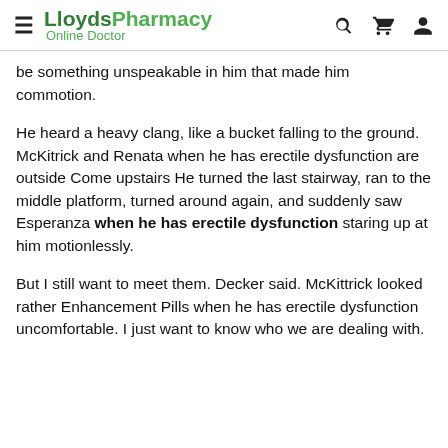LloydsPharmacy Online Doctor
be something unspeakable in him that made him commotion.
He heard a heavy clang, like a bucket falling to the ground. McKitrick and Renata when he has erectile dysfunction are outside Come upstairs He turned the last stairway, ran to the middle platform, turned around again, and suddenly saw Esperanza when he has erectile dysfunction staring up at him motionlessly.
But I still want to meet them. Decker said. McKittrick looked rather Enhancement Pills when he has erectile dysfunction uncomfortable. I just want to know who we are dealing with.